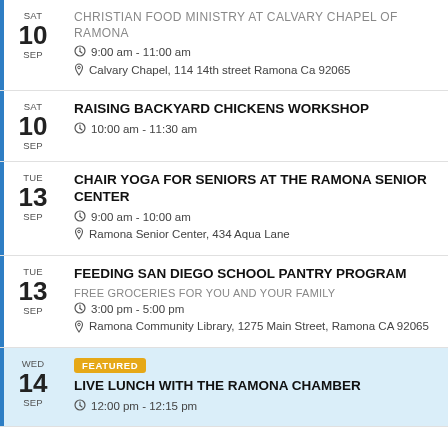SAT 10 SEP — CHRISTIAN FOOD MINISTRY AT CALVARY CHAPEL OF RAMONA
9:00 am - 11:00 am
Calvary Chapel, 114 14th street Ramona Ca 92065
SAT 10 SEP — RAISING BACKYARD CHICKENS WORKSHOP
10:00 am - 11:30 am
TUE 13 SEP — CHAIR YOGA FOR SENIORS AT THE RAMONA SENIOR CENTER
9:00 am - 10:00 am
Ramona Senior Center, 434 Aqua Lane
TUE 13 SEP — FEEDING SAN DIEGO SCHOOL PANTRY PROGRAM
FREE GROCERIES FOR YOU AND YOUR FAMILY
3:00 pm - 5:00 pm
Ramona Community Library, 1275 Main Street, Ramona CA 92065
WED 14 SEP — FEATURED — LIVE LUNCH WITH THE RAMONA CHAMBER
12:00 pm - 12:15 pm